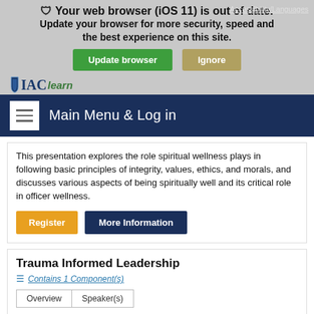Your web browser (iOS 11) is out of date. Update your browser for more security, speed and the best experience on this site.
[Figure (screenshot): IAC Learn logo overlaid on browser warning banner]
Accessibility/Languages
Update browser | Ignore
Main Menu & Log in
This presentation explores the role spiritual wellness plays in following basic principles of integrity, values, ethics, and morals, and discusses various aspects of being spiritually well and its critical role in officer wellness.
Register    More Information
Trauma Informed Leadership
Contains 1 Component(s)
Overview    Speaker(s)
Learn how leaders can inadvertently worsen or aggravate trauma within their ranks, and how they can serve as